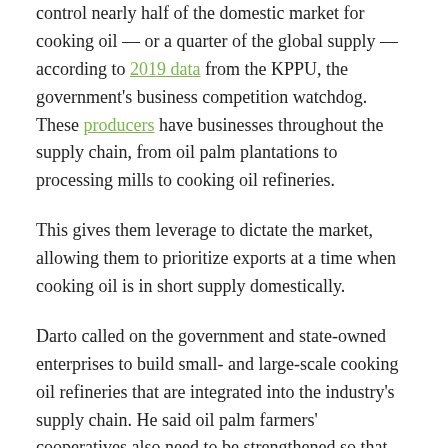control nearly half of the domestic market for cooking oil — or a quarter of the global supply — according to 2019 data from the KPPU, the government's business competition watchdog. These producers have businesses throughout the supply chain, from oil palm plantations to processing mills to cooking oil refineries.
This gives them leverage to dictate the market, allowing them to prioritize exports at a time when cooking oil is in short supply domestically.
Darto called on the government and state-owned enterprises to build small- and large-scale cooking oil refineries that are integrated into the industry's supply chain. He said oil palm farmers' cooperatives also need to be strengthened so that smallholders can have a bigger say in determining prices that are currently dominated by big companies.